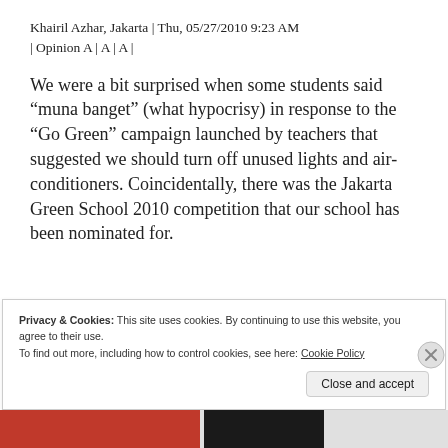Khairil Azhar, Jakarta | Thu, 05/27/2010 9:23 AM | Opinion A | A | A |
We were a bit surprised when some students said “muna banget” (what hypocrisy) in response to the “Go Green” campaign launched by teachers that suggested we should turn off unused lights and air-conditioners. Coincidentally, there was the Jakarta Green School 2010 competition that our school has been nominated for.
Privacy & Cookies: This site uses cookies. By continuing to use this website, you agree to their use. To find out more, including how to control cookies, see here: Cookie Policy
Close and accept